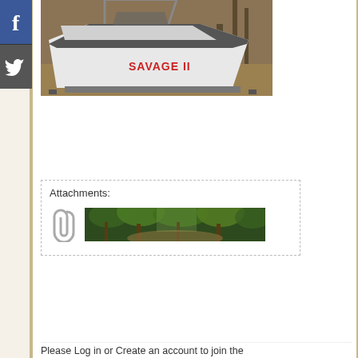[Figure (photo): Photo of a white speedboat named 'SAVAGE II' with dark stripes, parked on a trailer among trees with leaves on the ground.]
Attachments:
[Figure (photo): Thumbnail image attachment showing a green leafy forest scene with trees and a dirt path or road.]
Please Log in or Create an account to join the